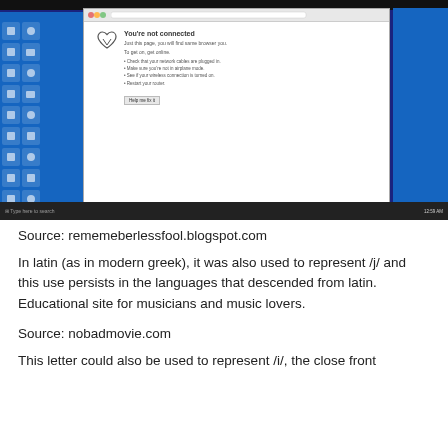[Figure (screenshot): A Windows desktop screenshot showing a browser window with 'You're not connected' error page, with a broken heart icon. The desktop shows various application icons on a blue background, and a taskbar at the bottom.]
Source: rememeberlessfool.blogspot.com
In latin (as in modern greek), it was also used to represent /j/ and this use persists in the languages that descended from latin. Educational site for musicians and music lovers.
Source: nobadmovie.com
This letter could also be used to represent /i/, the close front